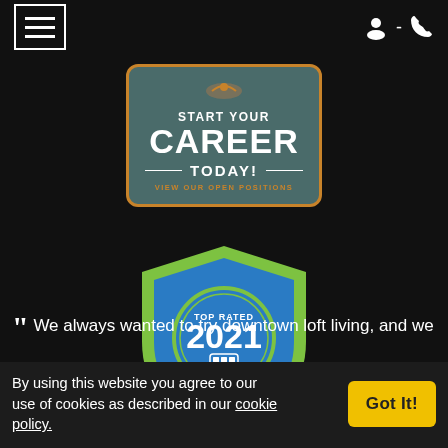[Figure (screenshot): Mobile website navigation bar with hamburger menu icon on left, and person/phone icons on right, white on dark background]
[Figure (logo): Career recruitment badge: teal rectangle with orange border reading 'START YOUR CAREER TODAY! VIEW OUR OPEN POSITIONS']
[Figure (logo): ApartmentRatings Top Rated 2021 shield badge, blue and green colors]
We always wanted to try downtown loft living, and we
By using this website you agree to our use of cookies as described in our cookie policy.
[Figure (other): Got It! yellow button for cookie consent]